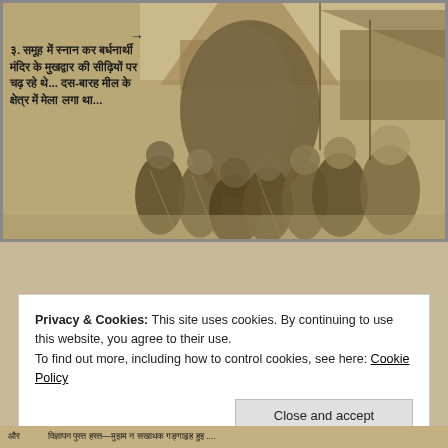[Figure (photo): Old black and white newspaper photograph showing a large crowd of pilgrims climbing the steps of a temple (likely Badrinath or similar Hindu temple). People are seen from behind wearing traditional Indian clothing. Hindi text caption overlaid on left side of image reads: '३. समूह में स्नान कर बर्धनार्थी मंदिर के मुखद्वार की सीढ़ियों पर चढ़ रहे थे... दस-बारह मील के क्षेत्र में मेला लगा था...' with an arrow pointing toward the crowd.]
Privacy & Cookies: This site uses cookies. By continuing to use this website, you agree to their use.
To find out more, including how to control cookies, see here: Cookie Policy
Close and accept
[Hindi text - partially visible at bottom of page]